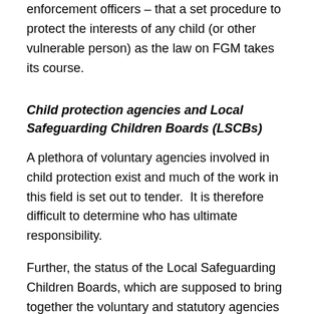enforcement officers – that a set procedure to protect the interests of any child (or other vulnerable person) as the law on FGM takes its course.
Child protection agencies and Local Safeguarding Children Boards (LSCBs)
A plethora of voluntary agencies involved in child protection exist and much of the work in this field is set out to tender.  It is therefore difficult to determine who has ultimate responsibility.
Further, the status of the Local Safeguarding Children Boards, which are supposed to bring together the voluntary and statutory agencies involved, is unclear; the organisations are not obliged to collaborate and the